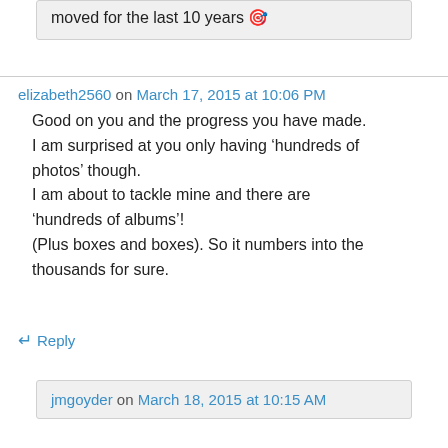moved for the last 10 years 🌟
elizabeth2560 on March 17, 2015 at 10:06 PM
Good on you and the progress you have made. I am surprised at you only having ‘hundreds of photos’ though.
I am about to tackle mine and there are ‘hundreds of albums’!
(Plus boxes and boxes). So it numbers into the thousands for sure.
↵ Reply
jmgoyder on March 18, 2015 at 10:15 AM